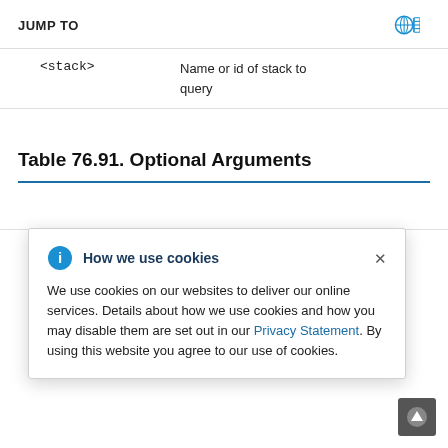JUMP TO
| <stack> | Name or id of stack to query |
Table 76.91. Optional Arguments
[Figure (other): Cookie consent popup overlay with title 'How we use cookies', info icon, close button, body text about cookie usage and Privacy Statement link.]